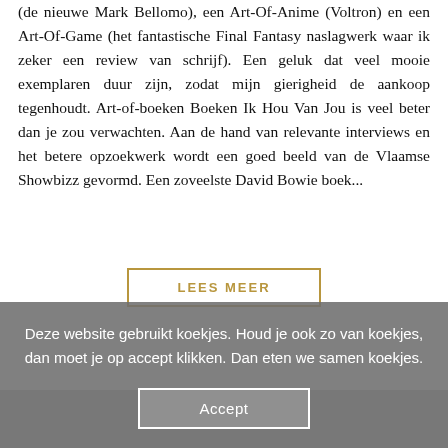(de nieuwe Mark Bellomo), een Art-Of-Anime (Voltron) en een Art-Of-Game (het fantastische Final Fantasy naslagwerk waar ik zeker een review van schrijf). Een geluk dat veel mooie exemplaren duur zijn, zodat mijn gierigheid de aankoop tegenhoudt. Art-of-boeken Boeken Ik Hou Van Jou is veel beter dan je zou verwachten. Aan de hand van relevante interviews en het betere opzoekwerk wordt een goed beeld van de Vlaamse Showbizz gevormd. Een zoveelste David Bowie boek...
LEES MEER
Deze website gebruikt koekjes. Houd je ook zo van koekjes, dan moet je op accept klikken. Dan eten we samen koekjes.
Accept